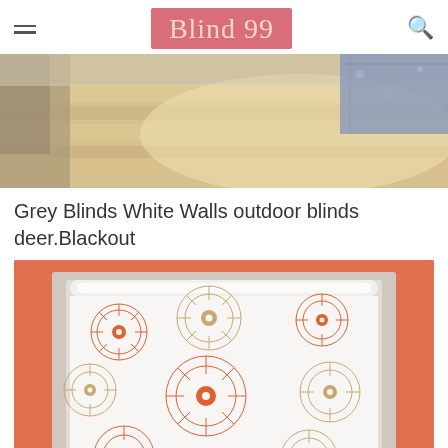Blind 99
[Figure (photo): Top portion of a room interior showing wooden flooring and a blue patterned rug in the corner]
Grey Blinds White Walls outdoor blinds deer.Blackout
[Figure (photo): A white roller blind with orange and tan/beige sunburst/chrysanthemum pattern, installed in a window with gray frame surround, against an orange/terracotta wall background]